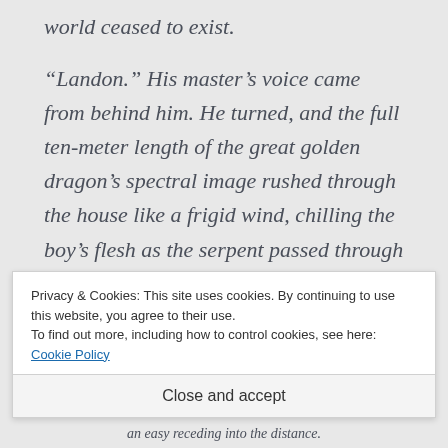world ceased to exist.
“Landon.” His master’s voice came from behind him. He turned, and the full ten-meter length of the great golden dragon’s spectral image rushed through the house like a frigid wind, chilling the boy’s flesh as the serpent passed through his body and into the brilliant void outside the front door.
Privacy & Cookies: This site uses cookies. By continuing to use this website, you agree to their use.
To find out more, including how to control cookies, see here: Cookie Policy
Close and accept
an easy receding into the distance.